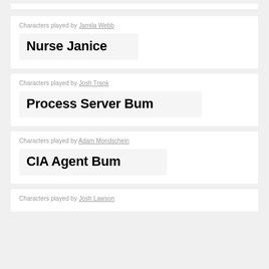Characters played by Jamila Webb
Nurse Janice
Characters played by Josh Trank
Process Server Bum
Characters played by Adam Mondschein
CIA Agent Bum
Characters played by Josh Lawson